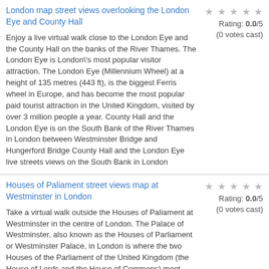London map street views overlooking the London Eye and County Hall
Rating: 0.0/5 (0 votes cast)
Enjoy a live virtual walk close to the London Eye and the County Hall on the banks of the River Thames. The London Eye is London\'s most popular visitor attraction. The London Eye (Millennium Wheel) at a height of 135 metres (443 ft), is the biggest Ferris wheel in Europe, and has become the most popular paid tourist attraction in the United Kingdom, visited by over 3 million people a year. County Hall and the London Eye is on the South Bank of the River Thames in London between Westminster Bridge and Hungerford Bridge County Hall and the London Eye live streets views on the South Bank in London
Houses of Paliament street views map at Westminster in London
Rating: 0.0/5 (0 votes cast)
Take a virtual walk outside the Houses of Paliament at Westminster in the centre of London. The Palace of Westminster, also known as the Houses of Parliament or Westminster Palace, in London is where the two Houses of the Parliament of the United Kingdom (the House of Lords and the House of Commons) meet. The palace lies on the north bank of the River Thames in the London borough of the City of Westminster, close to the government buildings of Whitehall. London live street level views showcasing the Houses of Parliament in London